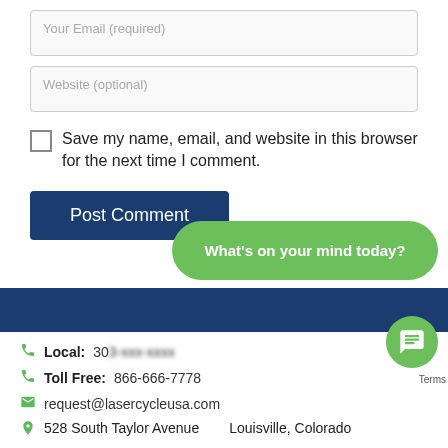Your Email (required)
Website (optional)
Save my name, email, and website in this browser for the next time I comment.
Post Comment
Local: 30... | Toll Free: 866-666-7778 | request@lasercycleusa.com | 528 South Taylor Avenue   Louisville, Colorado
What's on your mind today?